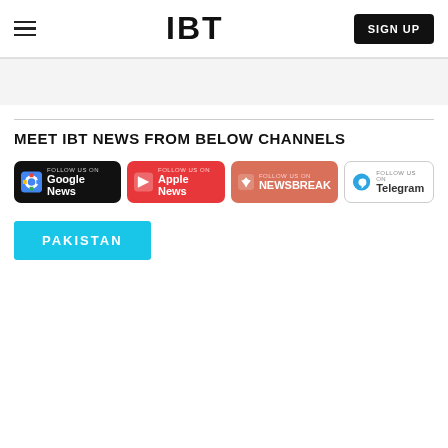IBT — SIGN UP
MEET IBT NEWS FROM BELOW CHANNELS
[Figure (other): Follow us on Google News button (black background)]
[Figure (other): Follow us on Apple News button (red background)]
[Figure (other): Follow us on Newsbreak button (salmon/red background)]
[Figure (other): Follow us on Telegram button (white background with border)]
PAKISTAN